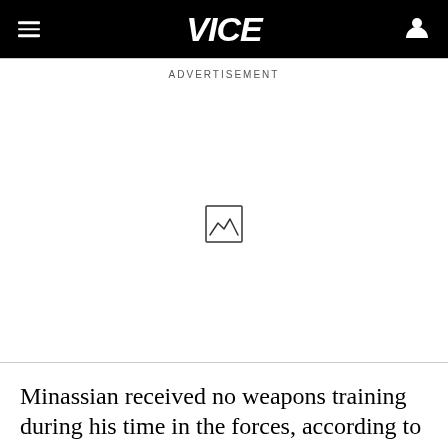VICE
ADVERTISEMENT
[Figure (other): Advertisement placeholder image icon showing a mountain/landscape symbol inside a square border]
Minassian received no weapons training during his time in the forces, according to the official